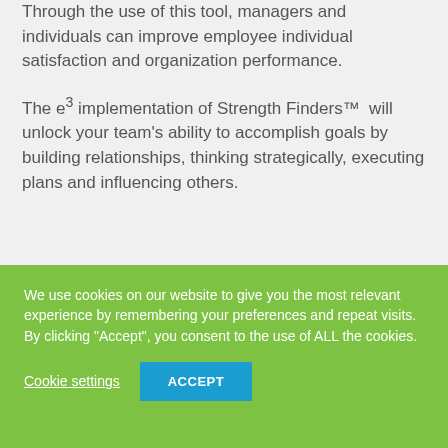Through the use of this tool, managers and individuals can improve employee individual satisfaction and organization performance.
The e3 implementation of Strength Finders™  will unlock your team's ability to accomplish goals by building relationships, thinking strategically, executing plans and influencing others.
We use cookies on our website to give you the most relevant experience by remembering your preferences and repeat visits. By clicking "Accept", you consent to the use of ALL the cookies.
Cookie settings
ACCEPT